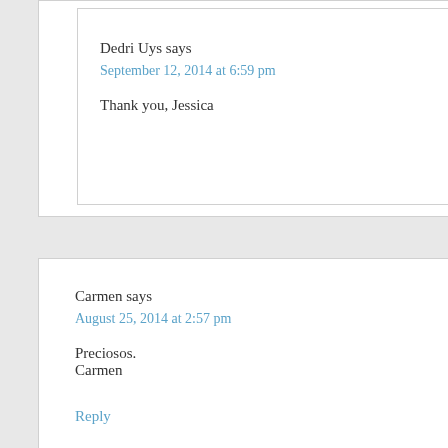Dedri Uys says
September 12, 2014 at 6:59 pm
Thank you, Jessica
Carmen says
August 25, 2014 at 2:57 pm
Preciosos.
Carmen
Reply